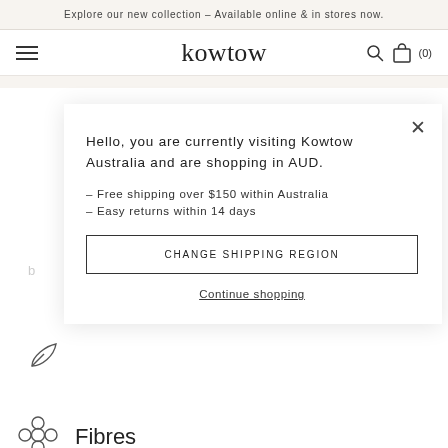Explore our new collection – Available online & in stores now.
kowtow
Hello, you are currently visiting Kowtow Australia and are shopping in AUD.
– Free shipping over $150 within Australia
– Easy returns within 14 days
CHANGE SHIPPING REGION
Continue shopping
Fibres
Recycled Materials